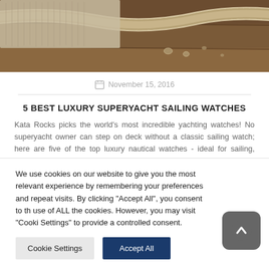[Figure (photo): Close-up photo of nautical rope on wooden deck with water droplets]
November 15, 2016
5 BEST LUXURY SUPERYACHT SAILING WATCHES
Kata Rocks picks the world's most incredible yachting watches! No superyacht owner can step on deck without a classic sailing watch; here are five of the top luxury nautical watches - ideal for sailing, yachting or boating - you really need to know more about...Read more
We use cookies on our website to give you the most relevant experience by remembering your preferences and repeat visits. By clicking "Accept All", you consent to the use of ALL the cookies. However, you may visit "Cookie Settings" to provide a controlled consent.